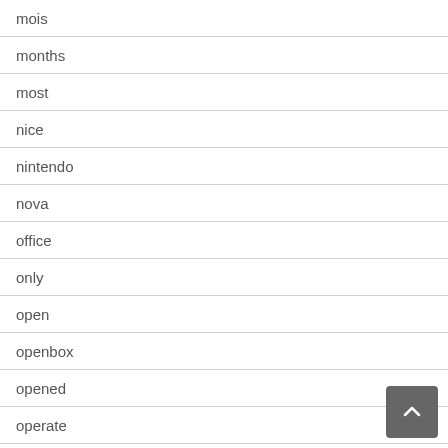mois
months
most
nice
nintendo
nova
office
only
open
openbox
opened
operate
original
pack